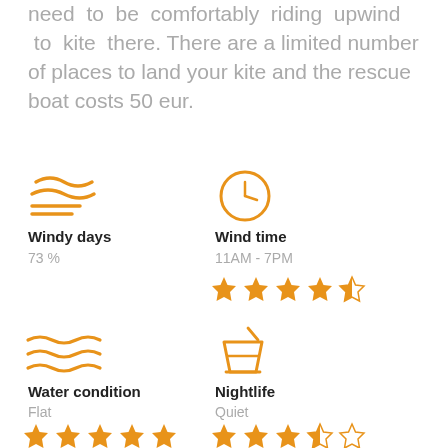need to be comfortably riding upwind to kite there. There are a limited number of places to land your kite and the rescue boat costs 50 eur.
[Figure (infographic): Wind icon (stylized wave lines) for Windy days category]
Windy days
73 %
[Figure (infographic): Clock icon for Wind time category]
Wind time
11AM - 7PM
[Figure (infographic): 4.5 out of 5 stars rating for Wind time]
[Figure (infographic): Water waves icon for Water condition category]
Water condition
Flat
[Figure (infographic): 5 out of 5 stars rating for Water condition]
[Figure (infographic): Cocktail/drink icon for Nightlife category]
Nightlife
Quiet
[Figure (infographic): 3.5 out of 5 stars rating for Nightlife]